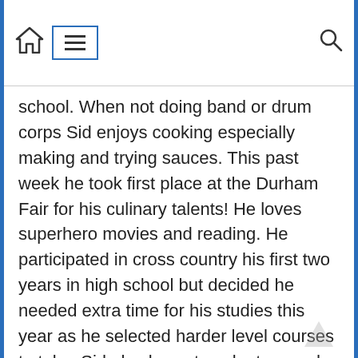Navigation bar with home icon, hamburger menu, and search icon
school. When not doing band or drum corps Sid enjoys cooking especially making and trying sauces. This past week he took first place at the Durham Fair for his culinary talents! He loves superhero movies and reading. He participated in cross country his first two years in high school but decided he needed extra time for his studies this year as he selected harder level courses to take. Sid also loves to volunteer and spent over sixty hours this past summer helping with masters Manna which is the local food and clothing pantry.
He has still not found his major desire as to what to do after high school. His heart keeps taking him back to music therapy as he wants to give